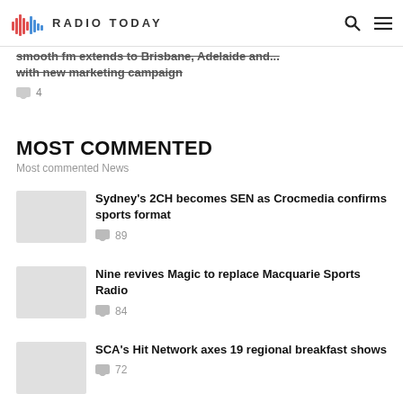Radio Today
smooth fm extends to Brisbane, Adelaide and... with new marketing campaign
4
MOST COMMENTED
Most commented News
Sydney's 2CH becomes SEN as Crocmedia confirms sports format
89
Nine revives Magic to replace Macquarie Sports Radio
84
SCA's Hit Network axes 19 regional breakfast shows
72